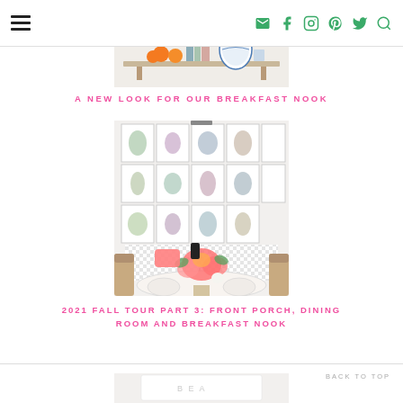Navigation header with hamburger menu and social icons
[Figure (photo): A shelf or console table with oranges, books, and blue and white pottery/vases displayed on it]
A NEW LOOK FOR OUR BREAKFAST NOOK
[Figure (photo): A dining room breakfast nook with a gallery wall of botanical prints, black and white gingham banquette, rattan chairs, and a floral centerpiece on the table with fall decor]
2021 FALL TOUR PART 3: FRONT PORCH, DINING ROOM AND BREAKFAST NOOK
BACK TO TOP
[Figure (photo): Partial view of a white piece of furniture or decor at bottom of page]